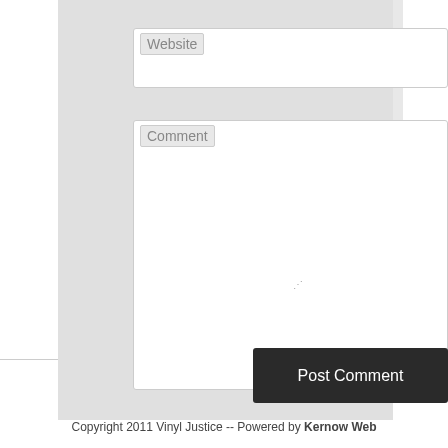[Figure (screenshot): Web form with Website input field and Comment textarea]
Website
Comment
Post Comment
Copyright 2011 Vinyl Justice -- Powered by Kernow Web